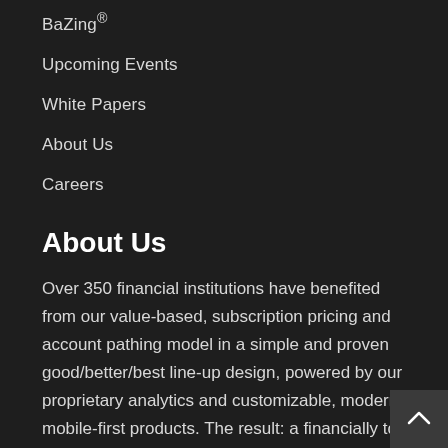BaZing®
Upcoming Events
White Papers
About Us
Careers
About Us
Over 350 financial institutions have benefited from our value-based, subscription pricing and account pathing model in a simple and proven good/better/best line-up design, powered by our proprietary analytics and customizable, modern, mobile-first products. The result: a financially top performing and differentiated line-up based on